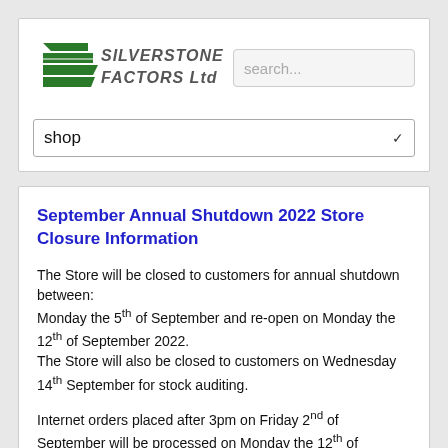[Figure (logo): Silverstone Factors Ltd logo with green graphic and bold text]
September Annual Shutdown 2022 Store Closure Information
The Store will be closed to customers for annual shutdown between:
Monday the 5th of September and re-open on Monday the 12th of September 2022.
The Store will also be closed to customers on Wednesday 14th September for stock auditing.
Internet orders placed after 3pm on Friday 2nd of September will be processed on Monday the 12th of September 2022.
Internet orders placed after 3pm on Tuesday 13nd of